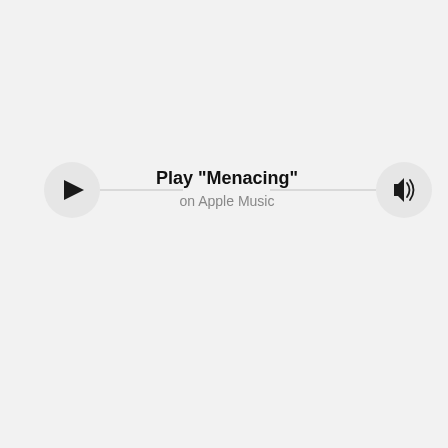[Figure (other): Apple Music player widget showing a play button circle on the left, a horizontal line, text 'Play "Menacing"' in bold and 'on Apple Music' in grey below it in the center, another horizontal line, and a speaker/volume icon circle on the right.]